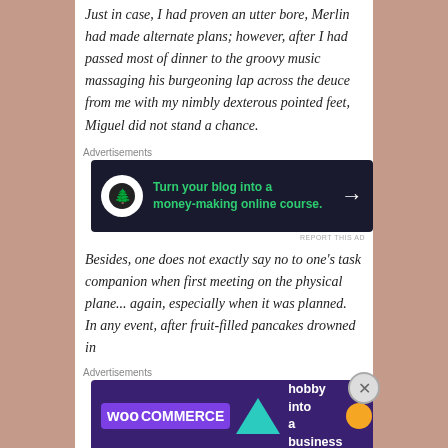Just in case, I had proven an utter bore, Merlin had made alternate plans; however, after I had passed most of dinner to the groovy music massaging his burgeoning lap across the deuce from me with my nimbly dexterous pointed feet, Miguel did not stand a chance.
Advertisements
[Figure (other): Dark advertisement banner: Turn your blog into a money-making online course. (Teachable/bonsai tree icon)]
REPORT THIS AD
Besides, one does not exactly say no to one's task companion when first meeting on the physical plane... again, especially when it was planned.  In any event, after fruit-filled pancakes drowned in
Advertisements
[Figure (other): WooCommerce advertisement: Turn your hobby into a business in 8 steps]